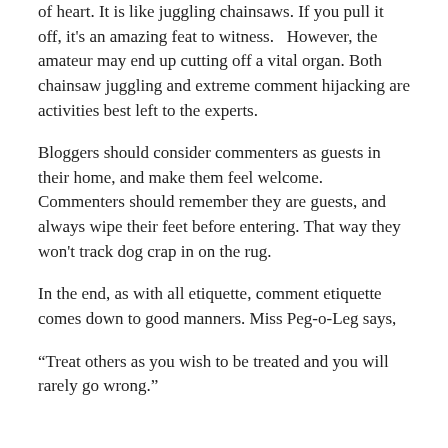of heart.  It is like juggling chainsaws.  If you pull it off, it's an amazing feat to witness.   However, the amateur may end up cutting off a vital organ.  Both chainsaw juggling and extreme comment hijacking are activities best left to the experts.
Bloggers should consider commenters as guests in their home, and make them feel welcome.  Commenters should remember they are guests, and always wipe their feet before entering.  That way they won't track dog crap in on the rug.
In the end, as with all etiquette, comment etiquette comes down to good manners.  Miss Peg-o-Leg says,
“Treat others as you wish to be treated and you will rarely go wrong.”